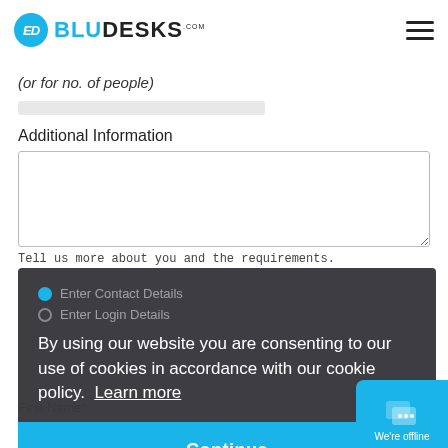[Figure (logo): BluDesks.com logo with blue circle ED icon and hamburger menu icon on the right]
(or for no. of people)
Additional Information
[Figure (screenshot): Text area input box for additional information]
Tell us more about you and the requirements.
By using our website you are consenting to our use of cookies in accordance with our cookie policy. Learn more
[Figure (screenshot): Continue button in blue]
First Name*
Last Name*
We're offline